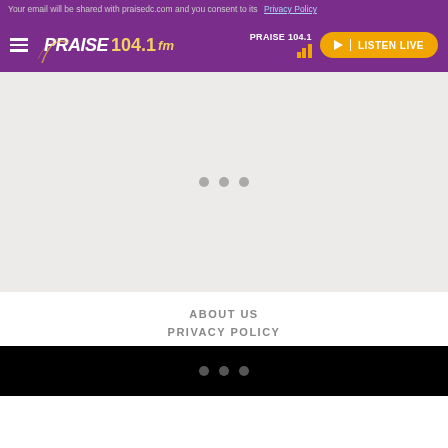Your email will be shared with praisedc.com and you consent to its Privacy Policy
PRAISE 104.1 fm — LISTEN LIVE
[Figure (screenshot): Loading content area with three gray dots indicating a loading spinner, on a light gray background]
ABOUT US
PRIVACY POLICY
Three dots slider indicator on black bar